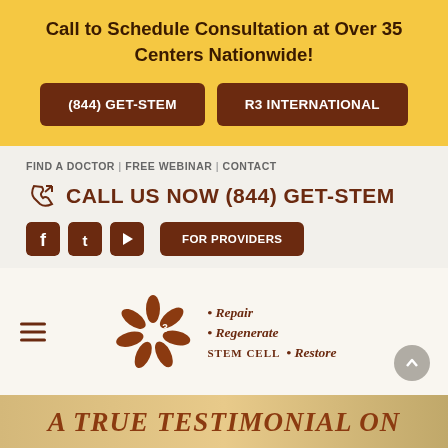Call to Schedule Consultation at Over 35 Centers Nationwide!
(844) GET-STEM
R3 INTERNATIONAL
FIND A DOCTOR | FREE WEBINAR | CONTACT
CALL US NOW (844) GET-STEM
FOR PROVIDERS
[Figure (logo): R3 Stem Cell logo with circular seed/leaf design and text: Repair, Regenerate, Restore, Stem Cell]
A TRUE TESTIMONIAL ON